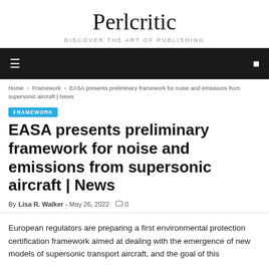Perlcritic
DISCOVER THE ART OF PUBLISHING
FRAMEWORK
Home › Framework › EASA presents preliminary framework for noise and emissions from supersonic aircraft | News
EASA presents preliminary framework for noise and emissions from supersonic aircraft | News
By Lisa R. Walker - May 26, 2022  0
European regulators are preparing a first environmental protection certification framework aimed at dealing with the emergence of new models of supersonic transport aircraft, and the goal of this